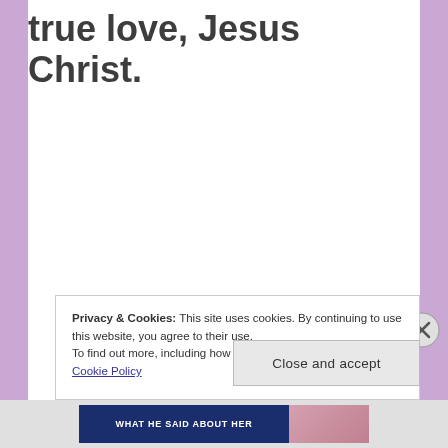true love, Jesus Christ.
Privacy & Cookies: This site uses cookies. By continuing to use this website, you agree to their use.
To find out more, including how to control cookies, see here:
Cookie Policy
Close and accept